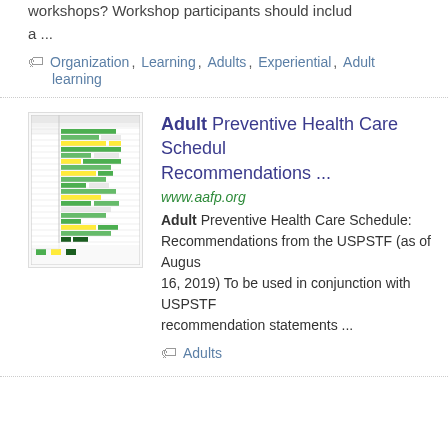workshops? Workshop participants should include a ...
Organization, Learning, Adults, Experiential, Adult learning
Adult Preventive Health Care Schedule: Recommendations ...
www.aafp.org
Adult Preventive Health Care Schedule: Recommendations from the USPSTF (as of August 16, 2019) To be used in conjunction with USPSTF recommendation statements ...
Adults
[Figure (table-as-image): Thumbnail image of Adult Preventive Health Care Schedule chart with colored rows in green and yellow]